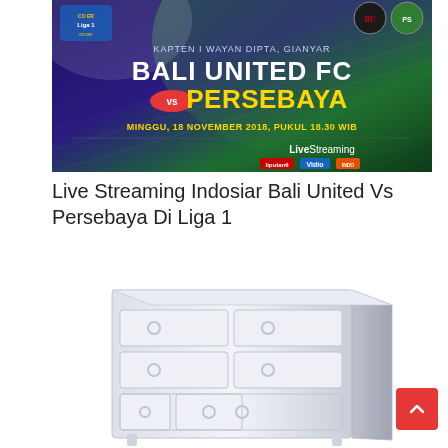[Figure (photo): Sports event promotional banner: Bali United FC vs Persebaya Liga 1 match, Kapten I Wayan Dipta Gianyar, Minggu 18 November 2018 Pukul 18.30 WIB, Live Streaming on Indosiar/Liputan6/Vidio]
Live Streaming Indosiar Bali United Vs Persebaya Di Liga 1
[Figure (photo): White wooden dresser/chest of drawers with multiple drawers and round handles, on white background]